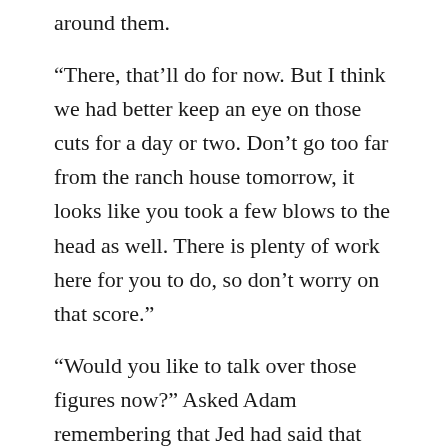around them.
“There, that’ll do for now. But I think we had better keep an eye on those cuts for a day or two. Don’t go too far from the ranch house tomorrow, it looks like you took a few blows to the head as well. There is plenty of work here for you to do, so don’t worry on that score.”
“Would you like to talk over those figures now?” Asked Adam remembering that Jed had said that she was keen to do so.
“No, I think that we had better leave them until tomorrow. Meanwhile go and get some rest.”
Adam got up with some help from Tucker, put on his dark shirt, which he noticed was torn in several places